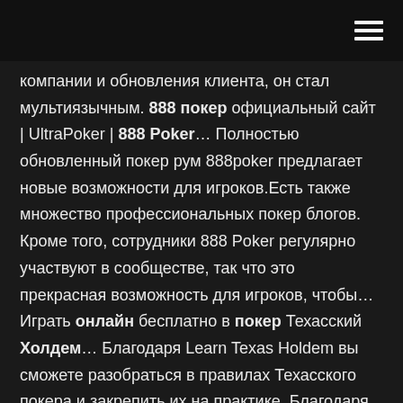компании и обновления клиента, он стал мультиязычным. 888 покер официальный сайт | UltraPoker | 888 Poker… Полностью обновленный покер рум 888poker предлагает новые возможности для игроков.Есть также множество профессиональных покер блогов. Кроме того, сотрудники 888 Poker регулярно участвуют в сообществе, так что это прекрасная возможность для игроков, чтобы… Играть онлайн бесплатно в покер Техасский Холдем… Благодаря Learn Texas Holdem вы сможете разобраться в правилах Техасского покера и закрепить их на практике. Благодаря этому в дальнейшем вам будет намного проще играть за столами с реальными соперниками. Играть бесплатно онлайн в покер